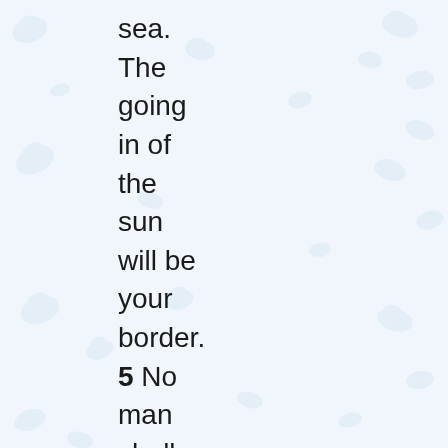sea. The going in of the sun will be your border. 5 No man shall stand before you all the days of